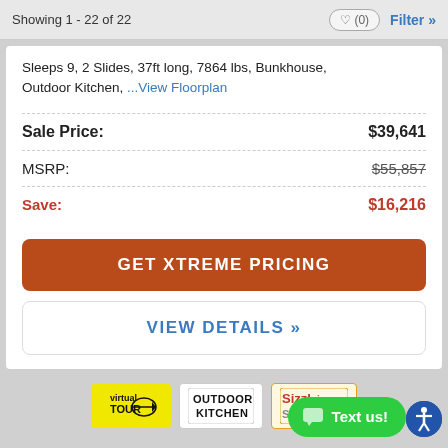Showing 1 - 22 of 22
Sleeps 9, 2 Slides, 37ft long, 7864 lbs, Bunkhouse, Outdoor Kitchen, ...View Floorplan
| Label | Value |
| --- | --- |
| Sale Price: | $39,641 |
| MSRP: | $55,857 |
| Save: | $16,216 |
GET XTREME PRICING
VIEW DETAILS »
[Figure (logo): Virtual Tour badge (yellow background with arrow)]
[Figure (logo): Outdoor Kitchen badge (black text on white)]
[Figure (logo): Sizzling Summer badge (partially visible)]
[Figure (other): Green Text us button with chat icon]
[Figure (other): Blue accessibility icon button]